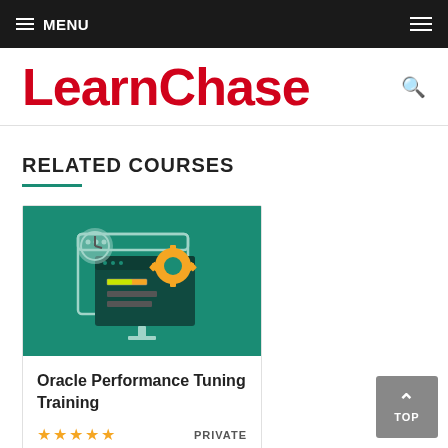≡ MENU
LearnChase
RELATED COURSES
[Figure (illustration): Oracle database performance tuning course thumbnail with teal background showing computer screens and a yellow gear icon]
Oracle Performance Tuning Training
★★★★★ PRIVATE